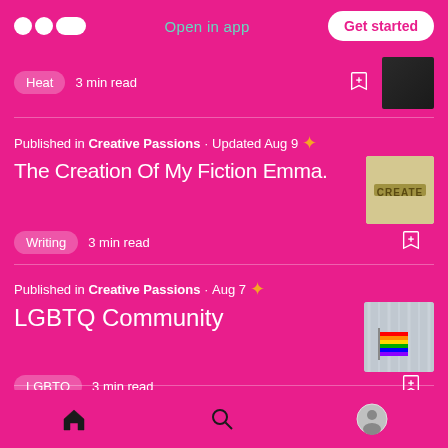Open in app | Get started
Heat  3 min read
Published in Creative Passions · Updated Aug 9
The Creation Of My Fiction Emma.
Writing  3 min read
Published in Creative Passions · Aug 7
LGBTQ Community
LGBTQ  3 min read